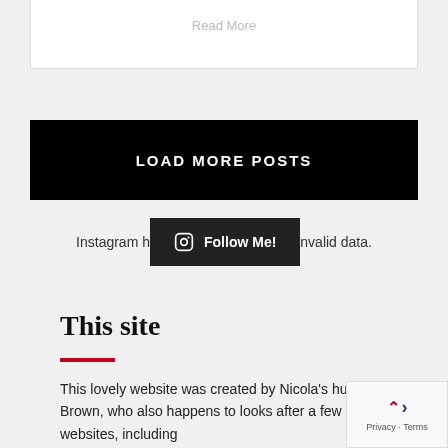Read More
LOAD MORE POSTS
Instagram h... invalid data.
Follow Me!
This site
This lovely website was created by Nicola's hubby, Krispy Brown, who also happens to looks after a few other websites, including